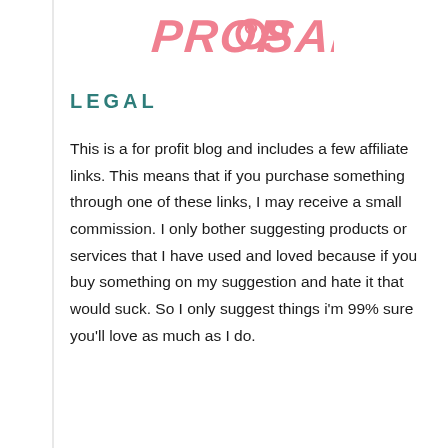[Figure (logo): Pink stylized script/brush text logo reading PROPOSAL with a ring graphic incorporated into the letter O]
LEGAL
This is a for profit blog and includes a few affiliate links. This means that if you purchase something through one of these links, I may receive a small commission. I only bother suggesting products or services that I have used and loved because if you buy something on my suggestion and hate it that would suck. So I only suggest things i'm 99% sure you'll love as much as I do.